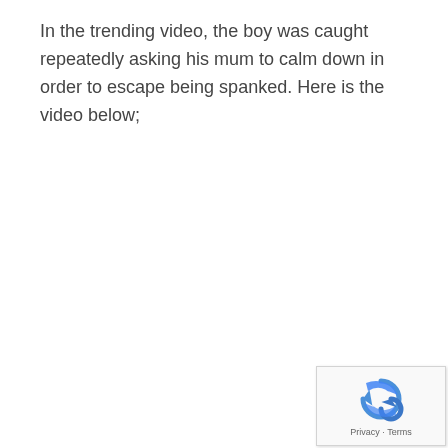In the trending video, the boy was caught repeatedly asking his mum to calm down in order to escape being spanked. Here is the video below;
[Figure (other): reCAPTCHA widget showing the reCAPTCHA arrows icon with 'Privacy · Terms' links below, in a small rounded box at the bottom right corner of the page.]